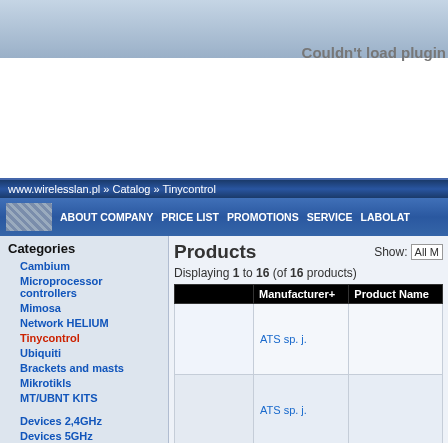[Figure (screenshot): Top banner area with plugin error message 'Couldn't load plugin']
www.wirelesslan.pl » Catalog » Tinycontrol
ABOUT COMPANY  PRICE LIST  PROMOTIONS  SERVICE  LABOLAT
Categories
Cambium
Microprocessor controllers
Mimosa
Network HELIUM
Tinycontrol
Ubiquiti
Brackets and masts
Mikrotikls
MT/UBNT KITS
Devices 2,4GHz
Devices 5GHz
WLAN Platform
Microwave links
Antennas 2,4GHz
Antennas 5GHz
Products
Displaying 1 to 16 (of 16 products)
|  | Manufacturer+ | Product Name |
| --- | --- | --- |
|  | ATS sp. j. |  |
|  | ATS sp. j. |  |